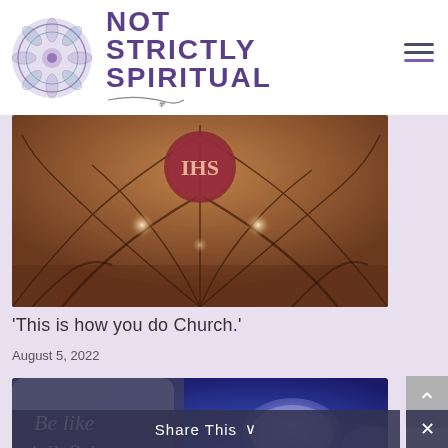NOT STRICTLY SPIRITUAL
[Figure (photo): Interior of a Gothic church ceiling with ornate vaulted arches, warm amber lighting, and a circular stained glass window with IHS monogram]
'This is how you do Church.'
August 5, 2022
[Figure (photo): Jellyfish illuminated in blue light with text overlay reading 'Be like jellyfish. Go with the flow.']
Share This ∨